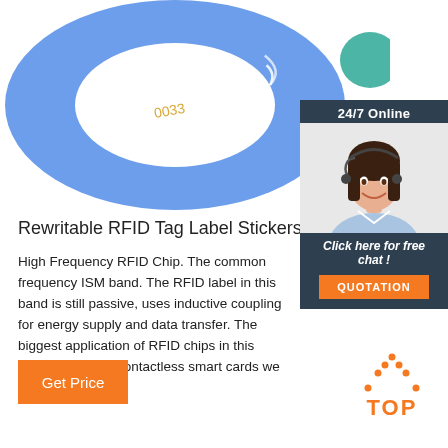[Figure (photo): Blue RFID wristband/ring tag with text 'RFID 0033' and wireless signal icon, close-up product photo on white background]
[Figure (infographic): 24/7 Online customer service chat widget with a smiling female agent wearing a headset, 'Click here for free chat!' text, and an orange QUOTATION button]
Rewritable RFID Tag Label Stickers
High Frequency RFID Chip. The common frequency ISM band. The RFID label in this band is still passive, uses inductive coupling for energy supply and data transfer. The biggest application of RFID chips in this frequency is the contactless smart cards we are familiar with.
[Figure (logo): Orange dotted triangle 'TOP' logo in bottom right]
Get Price